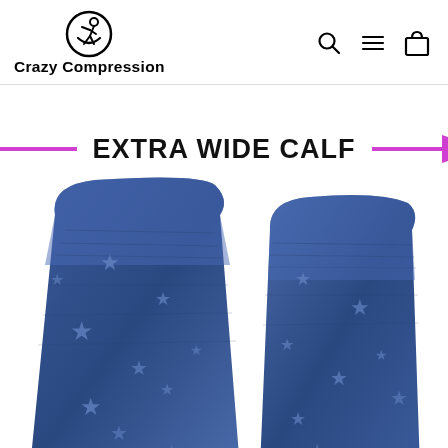[Figure (logo): Crazy Compression logo: circular icon with stylized running figure, and text 'Crazy Compression' below]
[Figure (other): Navigation icons: search magnifying glass, hamburger menu, and shopping bag icons]
[Figure (photo): Two blue compression socks with star pattern shown side by side, with a pink double-headed arrow and bold text 'EXTRA WIDE CALF' overlaid across the top, indicating extra wide calf sizing feature]